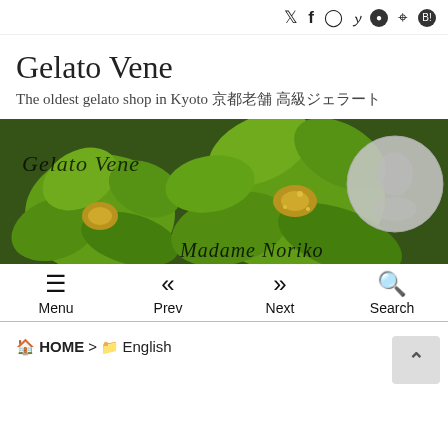Social icons: Twitter, Facebook, Instagram, Pinterest, LINE, RSS, Hatena
Gelato Vene
The oldest gelato shop in Kyoto 京都老舗 高級ジェラート
[Figure (photo): Banner image showing green matcha gelato flowers shaped like roses with gold decoration, with 'Gelato Vene' script text on left and 'Madame Noriko' script text on right, plus a circular logo/portrait on the far right.]
Menu   Prev   Next   Search
🏠 HOME > 📁 English